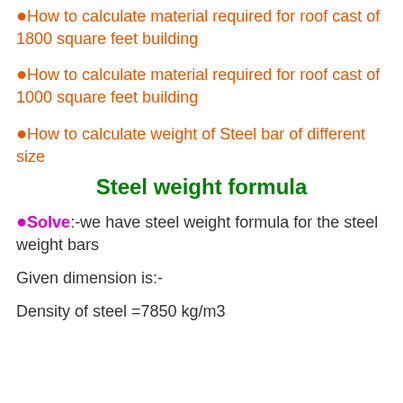●How to calculate material required for roof cast of 1800 square feet building
●How to calculate material required for roof cast of 1000 square feet building
●How to calculate weight of Steel bar of different size
Steel weight formula
●Solve:-we have steel weight formula for the steel weight bars
Given dimension is:-
Density of steel =7850 kg/m3